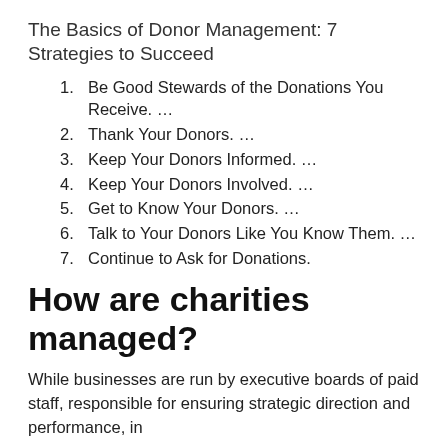The Basics of Donor Management: 7 Strategies to Succeed
Be Good Stewards of the Donations You Receive. …
Thank Your Donors. …
Keep Your Donors Informed. …
Keep Your Donors Involved. …
Get to Know Your Donors. …
Talk to Your Donors Like You Know Them. …
Continue to Ask for Donations.
How are charities managed?
While businesses are run by executive boards of paid staff, responsible for ensuring strategic direction and performance, in